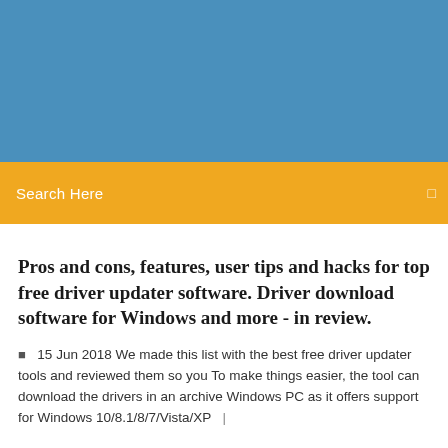[Figure (other): Blue header banner background]
Search Here
Pros and cons, features, user tips and hacks for top free driver updater software. Driver download software for Windows and more - in review.
15 Jun 2018 We made this list with the best free driver updater tools and reviewed them so you To make things easier, the tool can download the drivers in an archive Windows PC as it offers support for Windows 10/8.1/8/7/Vista/XP  |